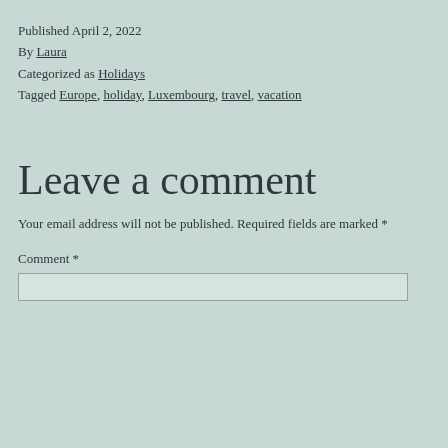Published April 2, 2022
By Laura
Categorized as Holidays
Tagged Europe, holiday, Luxembourg, travel, vacation
Leave a comment
Your email address will not be published. Required fields are marked *
Comment *